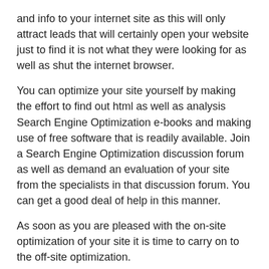and info to your internet site as this will only attract leads that will certainly open your website just to find it is not what they were looking for as well as shut the internet browser.
You can optimize your site yourself by making the effort to find out html as well as analysis Search Engine Optimization e-books and making use of free software that is readily available. Join a Search Engine Optimization discussion forum as well as demand an evaluation of your site from the specialists in that discussion forum. You can get a good deal of help in this manner.
As soon as you are pleased with the on-site optimization of your site it is time to carry on to the off-site optimization.
Off-site optimization is the interesting part of web marketing where you will certainly see development in jumps as well as bounds as long as you have done the on-site optimization appropriately.
You can boost optimization in this manner by...